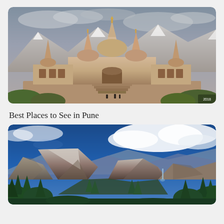[Figure (photo): A large Hindu temple (resembling BAPS Swaminarayan Mandir) with multiple ornate spires, pink/beige sandstone architecture, set against a dramatic cloudy sky with snow-capped mountains in the background. Stairs lead up to the main entrance.]
Best Places to See in Pune
[Figure (photo): A panoramic mountain landscape with dramatic blue sky and white clouds. Rocky granite peaks (resembling Yosemite's Half Dome area) rise above a forested valley, with evergreen trees in the foreground and a waterfall visible in the distance.]